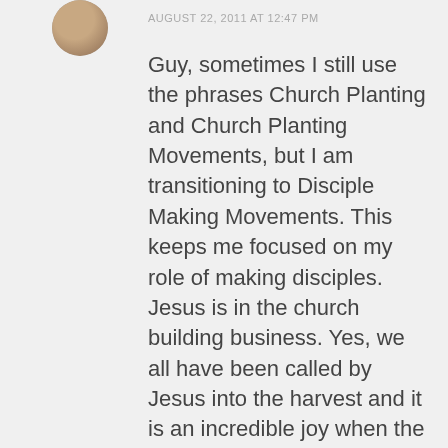[Figure (photo): Circular avatar photo of a person]
AUGUST 22, 2011 AT 12:47 PM
Guy, sometimes I still use the phrases Church Planting and Church Planting Movements, but I am transitioning to Disciple Making Movements. This keeps me focused on my role of making disciples. Jesus is in the church building business. Yes, we all have been called by Jesus into the harvest and it is an incredible joy when the new harvesters come from the harvest. Going back to scriptures again and again draws us closer to Jesus and further from the